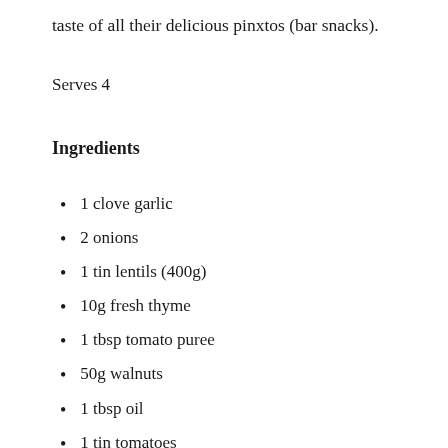taste of all their delicious pinxtos (bar snacks).
Serves 4
Ingredients
1 clove garlic
2 onions
1 tin lentils (400g)
10g fresh thyme
1 tbsp tomato puree
50g walnuts
1 tbsp oil
1 tin tomatoes
50ml red wine
1 tsp chilli flakes